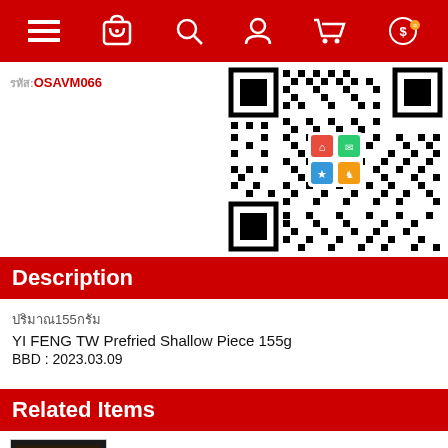[Figure (screenshot): Red navigation bar with icons: hamburger menu, shopping bag, search, user profile, cart, and coin/money icon]
รหัส:OSAVM066
[Figure (other): QR code with colorful app icons in the center, partially cropped on right side]
Description
ปริมาณ155กรัม
YI FENG TW Prefried Shallow Piece 155g
BBD : 2023.03.09
Related Items
CHINA Fried Bean Curd Stick 180g (ZHA FU ZHU)